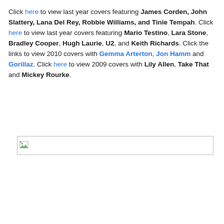Click here to view last year covers featuring James Corden, John Slattery, Lana Del Rey, Robbie Williams, and Tinie Tempah. Click here to view last year covers featuring Mario Testino, Lara Stone, Bradley Cooper, Hugh Laurie, U2, and Keith Richards. Click the links to view 2010 covers with Gemma Arterton, Jon Hamm and Gorillaz. Click here to view 2009 covers with Lily Allen, Take That and Mickey Rourke.
[Figure (other): Broken image placeholder box]